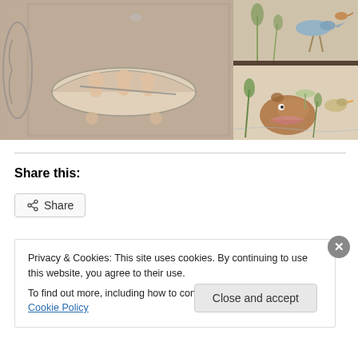[Figure (photo): Ancient Roman mosaic showing cherubs/putti in a boat, left panel]
[Figure (photo): Ancient mosaic with birds and animals, top right panel]
[Figure (photo): Ancient mosaic with hippopotamus, birds and plants, bottom right panel]
Share this:
Share
Privacy & Cookies: This site uses cookies. By continuing to use this website, you agree to their use.
To find out more, including how to control cookies, see here: Cookie Policy
Close and accept